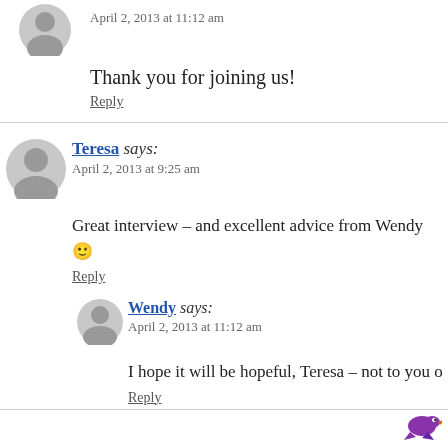April 2, 2013 at 11:12 am
Thank you for joining us!
Reply
Teresa says: April 2, 2013 at 9:25 am
Great interview – and excellent advice from Wendy 🙂
Reply
Wendy says: April 2, 2013 at 11:12 am
I hope it will be hopeful, Teresa – not to you o
Reply